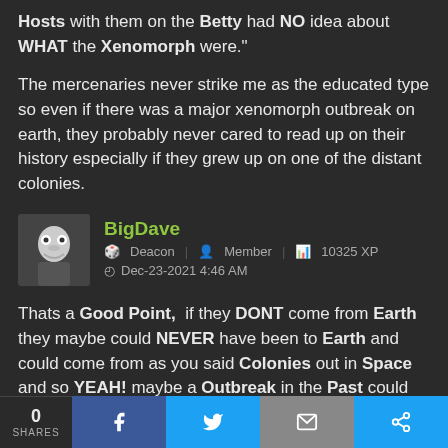Hosts with them on the Betty had NO idea about WHAT the Xenomorph were."
The mercenaries never strike me as the educated type so even if there was a major xenomorph outbreak on earth, they probably never cared to read up on their history especially if they grew up on one of the distant colonies.
BigDave | Deacon | Member | 10325 XP | Dec-23-2021 4:46 AM
Thats a Good Point, if they DONT come from Earth they maybe could NEVER have been to Earth and could come from as you said Colonies out in Space and so YEAH! maybe a Outbreak in the Past could Happen and they would HAVE NO IDEA about it....
0 SHARES | f | bird | mail | share